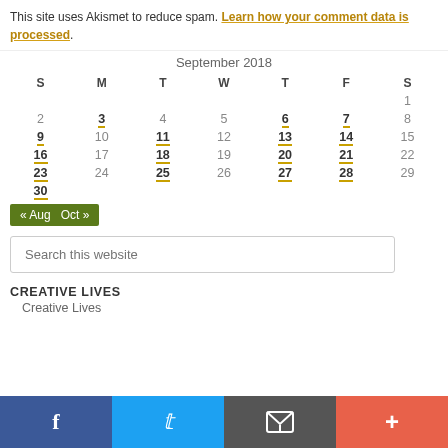This site uses Akismet to reduce spam. Learn how your comment data is processed.
| S | M | T | W | T | F | S |
| --- | --- | --- | --- | --- | --- | --- |
|  |  |  |  |  |  | 1 |
| 2 | 3 | 4 | 5 | 6 | 7 | 8 |
| 9 | 10 | 11 | 12 | 13 | 14 | 15 |
| 16 | 17 | 18 | 19 | 20 | 21 | 22 |
| 23 | 24 | 25 | 26 | 27 | 28 | 29 |
| 30 |  |  |  |  |  |  |
« Aug   Oct »
Search this website
CREATIVE LIVES
Creative Lives